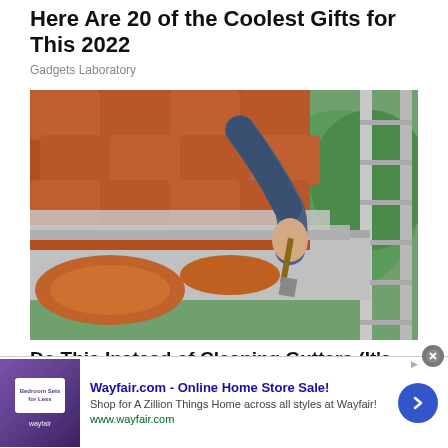Here Are 20 of the Coolest Gifts for This 2022
Gadgets Laboratory
[Figure (photo): Person on a ladder applying sealant or cleaning agent to roof gutters with a brush. Terracotta roof tiles visible on left, green garden in background on right, metal ladder on right side.]
Do This Instead of Cleaning Gutters (It's
Wayfair.com - Online Home Store Sale!
Shop for A Zillion Things Home across all styles at Wayfair!
www.wayfair.com